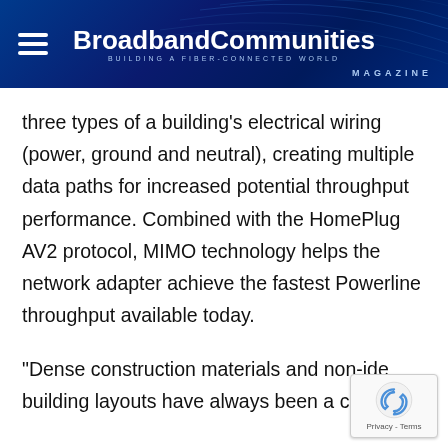BroadbandCommunities MAGAZINE — BUILDING A FIBER-CONNECTED WORLD
three types of a building's electrical wiring (power, ground and neutral), creating multiple data paths for increased potential throughput performance. Combined with the HomePlug AV2 protocol, MIMO technology helps the network adapter achieve the fastest Powerline throughput available today.
"Dense construction materials and non-ideal building layouts have always been a challenge...